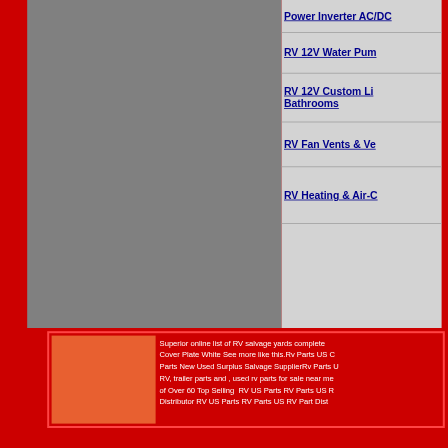Power Inverter AC/DC
RV 12V Water Pump
RV 12V Custom Lighting Bathrooms
RV Fan Vents & Vents
RV Heating & Air-C
Superior online list of RV salvage yards complete Cover Plate White See more like this.Rv Parts US C Parts New Used Surplus Salvage SupplierRv Parts U RV, trailer parts and , used rv parts for sale near me. of Over 60 Top Selling  RV US Parts RV Parts US R Distributor RV US Parts RV Parts US RV Part Dist